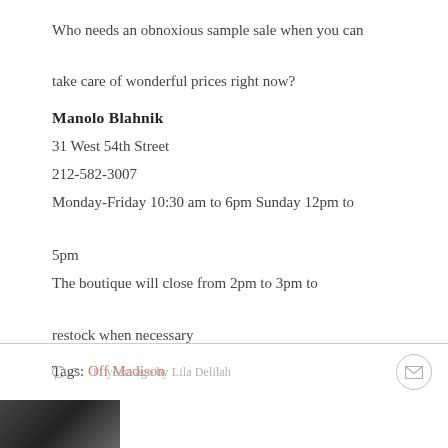Who needs an obnoxious sample sale when you can take care of wonderful prices right now?
Manolo Blahnik
31 West 54th Street
212-582-3007
Monday-Friday 10:30 am to 6pm Sunday 12pm to 5pm
The boutique will close from 2pm to 3pm to restock when necessary
Tags: Off Madison
◯5  11 years ago by Lila Delilah
[Figure (photo): Small image preview at bottom left corner, partially visible]